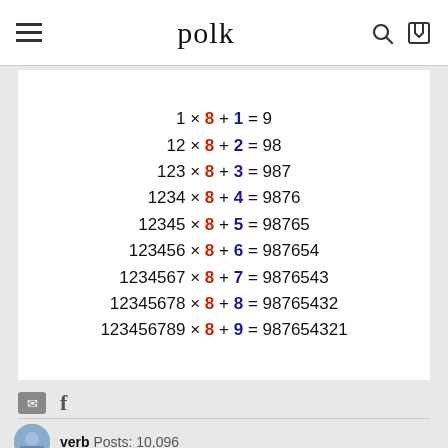polk
[Figure (infographic): Mathematical pyramid pattern showing 1x8+1=9 through 123456789x8+9=987654321, with 8 in red and the addends in blue]
f
verb  Posts: 10,096